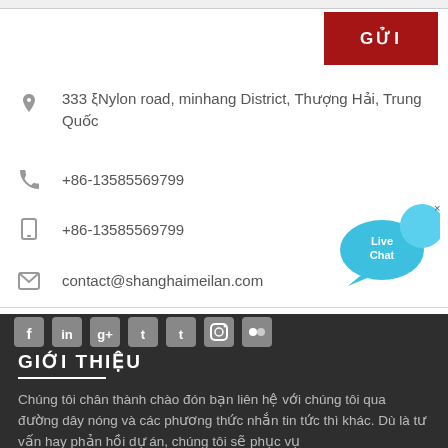GỬI
333 ξNylon road, minhang District, Thượng Hải, Trung Quốc
+86-13585569799
+86-13585569799
contact@shanghaimeilan.com
[Figure (illustration): Live Chat speech bubble widget with blue bubbles]
[Figure (infographic): Social media icons row: Facebook, LinkedIn, Google+, Twitter, Tumblr, Instagram, Flickr]
GIỚI THIỆU
Chúng tôi chân thành chào đón bạn liên hệ với chúng tôi qua đường dây nóng và các phương thức nhắn tin tức thì khác. Dù là tư vấn hay phản hồi dự án, chúng tôi sẽ phục vụ